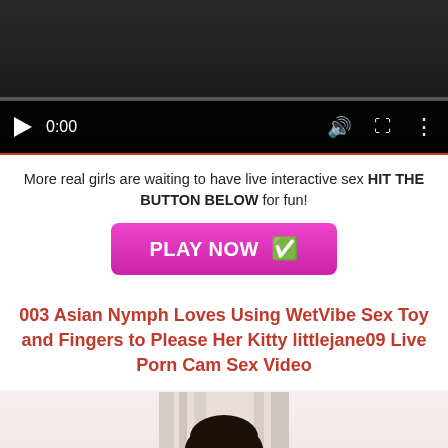[Figure (screenshot): Video player with dark background showing controls: play button, timestamp 0:00, volume icon, fullscreen icon, and options icon. Progress bar at bottom.]
More real girls are waiting to have live interactive sex HIT THE BUTTON BELOW for fun!
[Figure (other): Pink/magenta PLAY NOW button with green checkmark emoji]
003 Asian Nymph Loves Using WetVibe Sex Toy and Fingers to Please Her Kitty littlejane09 Live Porn Cam Sex Video
[Figure (photo): Photo thumbnail showing person with dark hair from shoulders up against light curtain background]